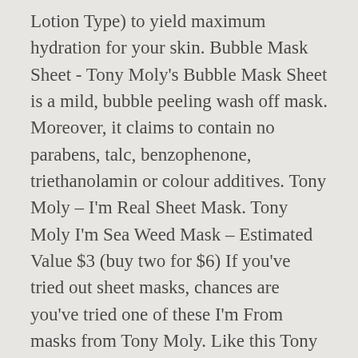Lotion Type) to yield maximum hydration for your skin. Bubble Mask Sheet - Tony Moly's Bubble Mask Sheet is a mild, bubble peeling wash off mask. Moreover, it claims to contain no parabens, talc, benzophenone, triethanolamin or colour additives. Tony Moly – I'm Real Sheet Mask. Tony Moly I'm Sea Weed Mask – Estimated Value $3 (buy two for $6) If you've tried out sheet masks, chances are you've tried one of these I'm From masks from Tony Moly. Like this Tony Moly I'm Real Sheet Mask in Red Wine, which apparently is supposed to help refine pores. The sheet mask trend is here to stay, and we couldn't be happier!TONY("style") MOLY ("to put into a box") has found a way to combine great